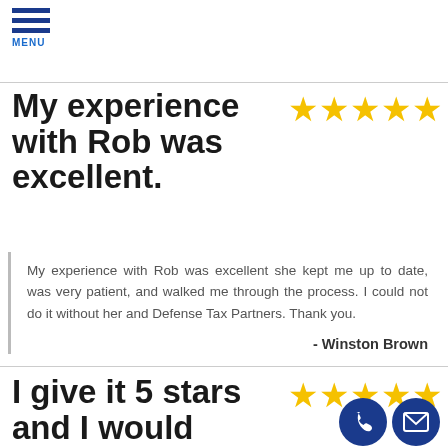[Figure (other): Hamburger menu icon with three blue horizontal lines and MENU label below]
My experience with Rob was excellent.
[Figure (other): Five gold/yellow stars rating]
My experience with Rob was excellent she kept me up to date, was very patient, and walked me through the process. I could not do it without her and Defense Tax Partners. Thank you.
- Winston Brown
I give it 5 stars and I would highly recommend it
[Figure (other): Five gold/yellow stars rating]
[Figure (other): Phone and email contact icon buttons]